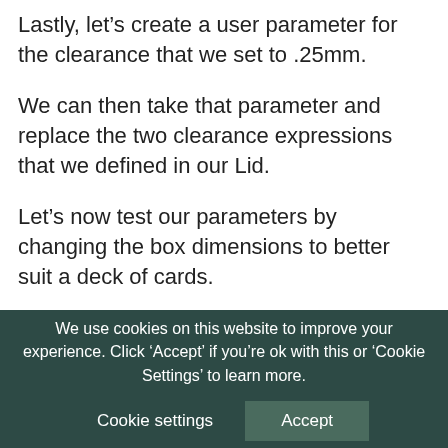Lastly, let’s create a user parameter for the clearance that we set to .25mm.
We can then take that parameter and replace the two clearance expressions that we defined in our Lid.
Let’s now test our parameters by changing the box dimensions to better suit a deck of cards.
In the parameters dialog, I’ll change the length to 40mm, the width to 74mm, and the height to 100mm.
We use cookies on this website to improve your experience. Click ‘Accept’ if you’re ok with this or ‘Cookie Settings’ to learn more.
Cookie settings   Accept